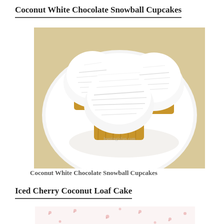Coconut White Chocolate Snowball Cupcakes
[Figure (photo): Three coconut white chocolate snowball cupcakes in gold foil wrappers covered in shredded coconut, arranged on a white plate on a beige surface. Watermark: feastingisfun.com]
Coconut White Chocolate Snowball Cupcakes
Iced Cherry Coconut Loaf Cake
[Figure (photo): Partial view of an iced cherry coconut loaf cake with pink floral pattern, shown at top of page crop]